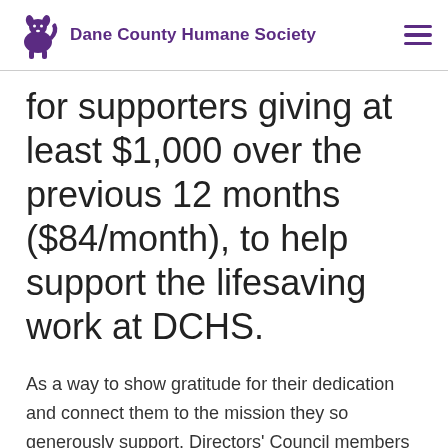Dane County Humane Society
for supporters giving at least $1,000 over the previous 12 months ($84/month), to help support the lifesaving work at DCHS.
As a way to show gratitude for their dedication and connect them to the mission they so generously support, Directors' Council members engage in unique animal experiences with DCHS. Special